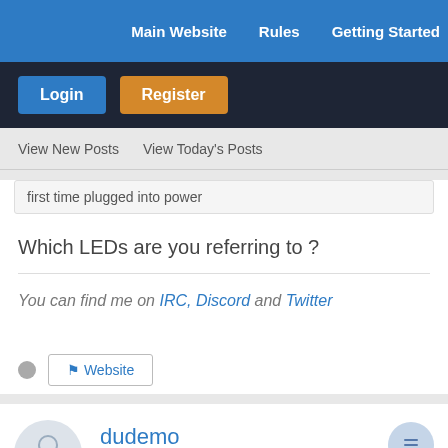Main Website   Rules   Getting Started
Login   Register
View New Posts   View Today's Posts
first time plugged into power
Which LEDs are you referring to ?
You can find me on IRC, Discord and Twitter
Website
dudemo
Pine Adept